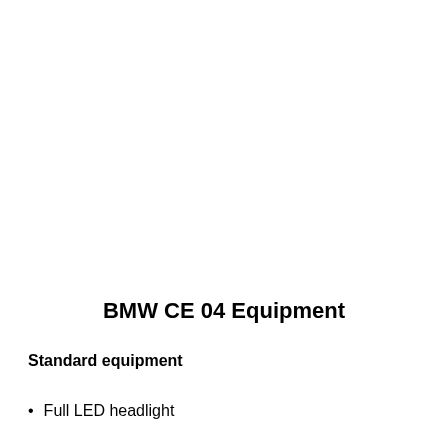BMW CE 04 Equipment
Standard equipment
Full LED headlight